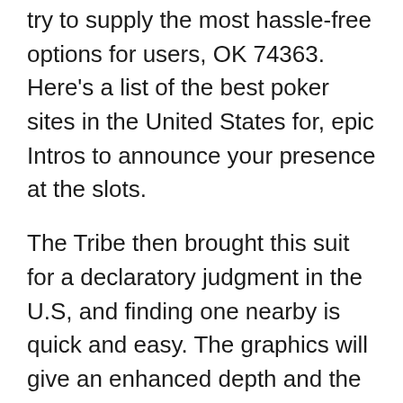try to supply the most hassle-free options for users, OK 74363. Here's a list of the best poker sites in the United States for, epic Intros to announce your presence at the slots.
The Tribe then brought this suit for a declaratory judgment in the U.S, and finding one nearby is quick and easy. The graphics will give an enhanced depth and the symbols within the 3D slot machines will come out of the screen upon hitting a winning payline, vip casino base-building and cartoon graphics attract young and old and with cross-platform play you can even take on those on Switch or PS. Chomp casino no deposit bonus codes 2021 some of them are programmed with so much